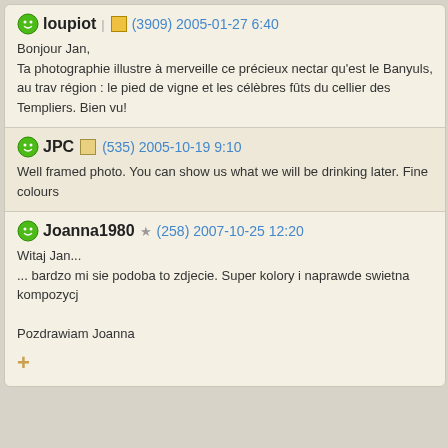loupiot | ★ (3909) 2005-01-27 6:40
Bonjour Jan,
Ta photographie illustre à merveille ce précieux nectar qu'est le Banyuls, au trav région : le pied de vigne et les célèbres fûts du cellier des Templiers. Bien vu!
JPC □ (535) 2005-10-19 9:10
Well framed photo. You can show us what we will be drinking later. Fine colours
Joanna1980 ☆ (258) 2007-10-25 12:20
Witaj Jan...
... bardzo mi sie podoba to zdjecie. Super kolory i naprawde swietna kompozycj

Pozdrawiam Joanna
+